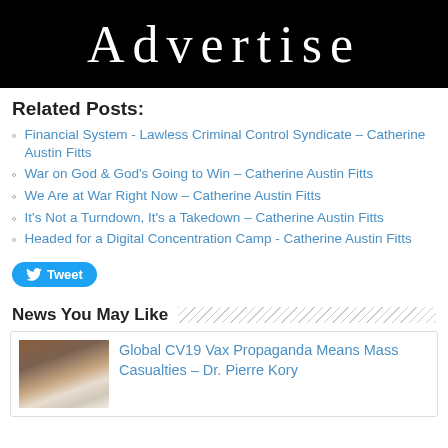[Figure (other): Black banner with 'Advertise' text in white serif font]
Related Posts:
Financial System - Lawless Criminal Control Syndicate – Catherine Austin Fitts
War on God & God's Going to Win – Catherine Austin Fitts
We Are at War Right Now – Catherine Austin Fitts
It's Not a Turndown, It's a Takedown – Catherine Austin Fitts
Headed for a Digital Concentration Camp - Catherine Austin Fitts
[Figure (other): Blue Tweet button with Twitter bird icon]
News You May Like
Global CV19 Vax Propaganda Means Mass Casualties – Dr. Pierre Kory